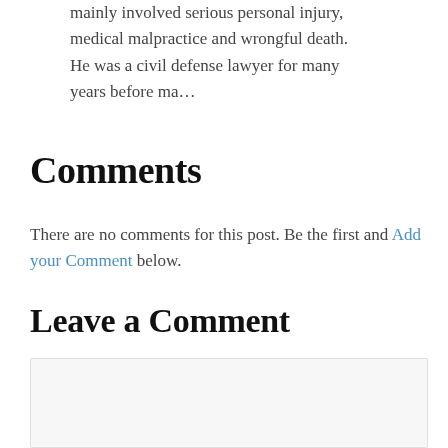mainly involved serious personal injury, medical malpractice and wrongful death. He was a civil defense lawyer for many years before ma…
Comments
There are no comments for this post. Be the first and Add your Comment below.
Leave a Comment
Name
Email